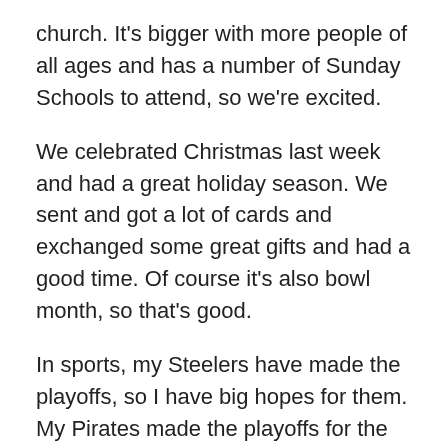church. It's bigger with more people of all ages and has a number of Sunday Schools to attend, so we're excited.
We celebrated Christmas last week and had a great holiday season. We sent and got a lot of cards and exchanged some great gifts and had a good time. Of course it's also bowl month, so that's good.
In sports, my Steelers have made the playoffs, so I have big hopes for them. My Pirates made the playoffs for the second year in a row, but didn't get anywhere. There's always next year, right? My Penguins made the playoffs, but got bounced out in the second round by the Rangers, so that was disappointing. They're playing now and even though they have a TON of injuries, they're still having a good season. Meanwhile my Vols made a bowl game for the first time in four years and they'll be playing Iowa on